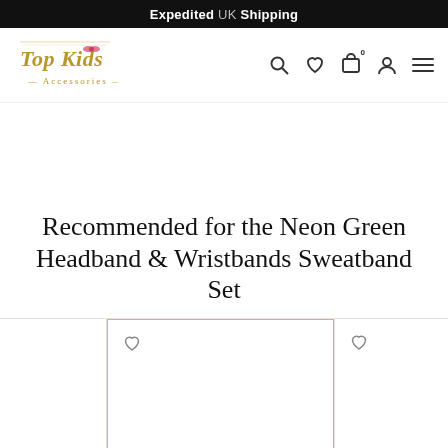Expedited UK Shipping
[Figure (logo): Top Kids Accessories logo — decorative script text with a pink bow, gold coloring]
Recommended for the Neon Green Headband & Wristbands Sweatband Set
[Figure (screenshot): Three product card placeholders in a row, the middle one highlighted with a gold border and a heart icon, the right one with a heart icon, all card interiors are blank/white]